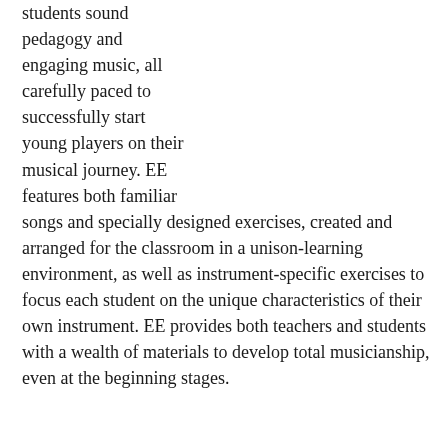students sound pedagogy and engaging music, all carefully paced to successfully start young players on their musical journey. EE features both familiar songs and specially designed exercises, created and arranged for the classroom in a unison-learning environment, as well as instrument-specific exercises to focus each student on the unique characteristics of their own instrument. EE provides both teachers and students with a wealth of materials to develop total musicianship, even at the beginning stages.